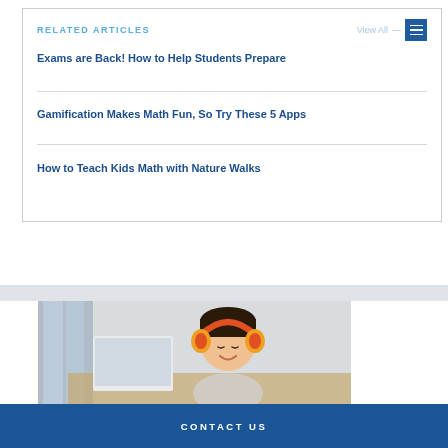RELATED ARTICLES
Exams are Back! How to Help Students Prepare
Gamification Makes Math Fun, So Try These 5 Apps
How to Teach Kids Math with Nature Walks
[Figure (photo): Young student wearing orange headphones smiling at a laptop screen]
CONTACT US